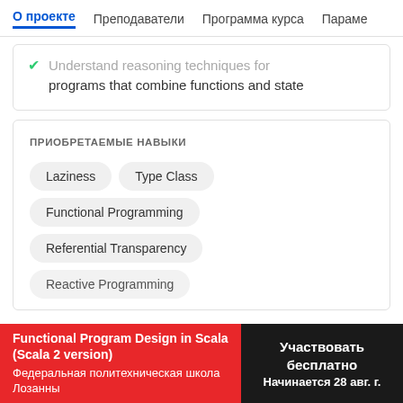О проекте  Преподаватели  Программа курса  Параме
Understand reasoning techniques for programs that combine functions and state
ПРИОБРЕТАЕМЫЕ НАВЫКИ
Laziness
Type Class
Functional Programming
Referential Transparency
Reactive Programming
Functional Program Design in Scala (Scala 2 version)
Федеральная политехническая школа Лозанны
Участвовать бесплатно
Начинается 28 авг. г.